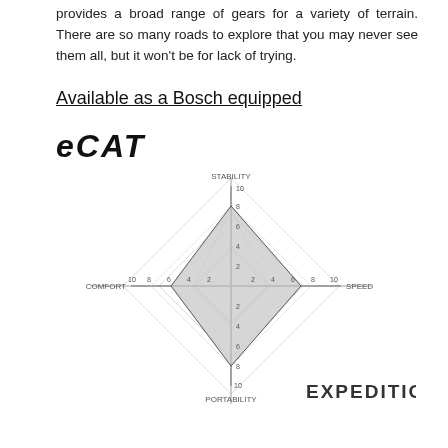provides a broad range of gears for a variety of terrain. There are so many roads to explore that you may never see them all, but it won't be for lack of trying.
Available as a Bosch equipped
[Figure (logo): eCAT logo in bold italic font]
[Figure (radar-chart): Diamond/radar chart with 4 axes: STABILITY (top), SPEED (right), PORTABILITY (bottom), COMFORT (left). Axes scale 0-10. Shaded diamond polygon. Label EXPEDITION in lower right.]